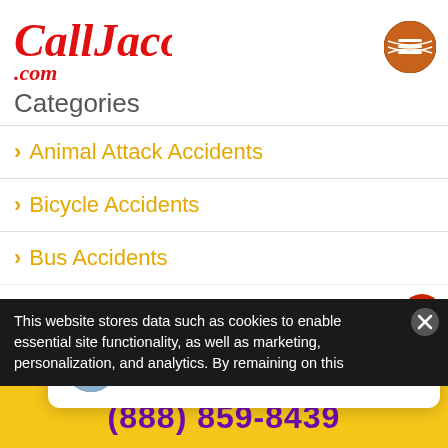[Figure (logo): CallJacob.com red cursive italic logo]
[Figure (illustration): Basketball with hamburger menu lines icon]
Categories
> Animal Attack Accidents
> Bicycle Accidents
> Bus Accidents
[Figure (screenshot): Close button tooltip overlay]
[Figure (screenshot): Chat popup with avatar: Hi there, have a question? Text us here.]
[Figure (illustration): Accessibility icon (person in circle) red]
This website stores data such as cookies to enable essential site functionality, as well as marketing, personalization, and analytics. By remaining on this
(888) 859-8439